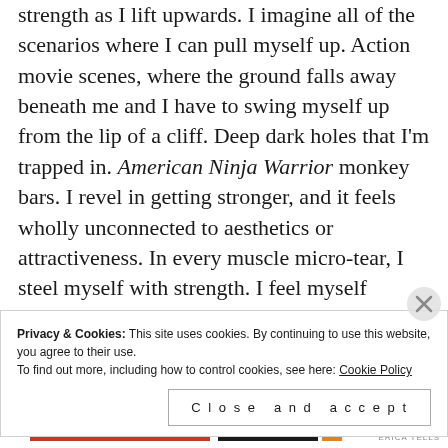strength as I lift upwards. I imagine all of the scenarios where I can pull myself up. Action movie scenes, where the ground falls away beneath me and I have to swing myself up from the lip of a cliff. Deep dark holes that I'm trapped in. American Ninja Warrior monkey bars. I revel in getting stronger, and it feels wholly unconnected to aesthetics or attractiveness. In every muscle micro-tear, I steel myself with strength. I feel myself getting stronger, and I nourish it like a seedling. I picture
Privacy & Cookies: This site uses cookies. By continuing to use this website, you agree to their use. To find out more, including how to control cookies, see here: Cookie Policy
Close and accept